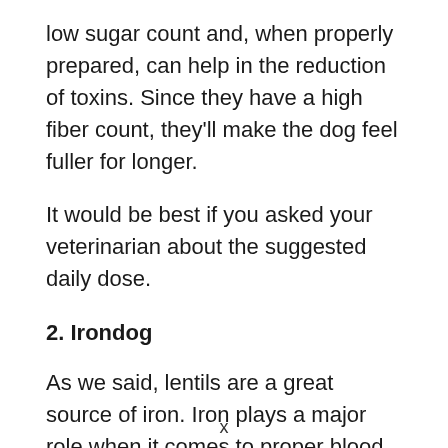low sugar count and, when properly prepared, can help in the reduction of toxins. Since they have a high fiber count, they'll make the dog feel fuller for longer.
It would be best if you asked your veterinarian about the suggested daily dose.
2. Irondog
As we said, lentils are a great source of iron. Iron plays a major role when it comes to proper blood and cell production. Iron deficiency in both us and our doggos can cause severe immune system issues.
x